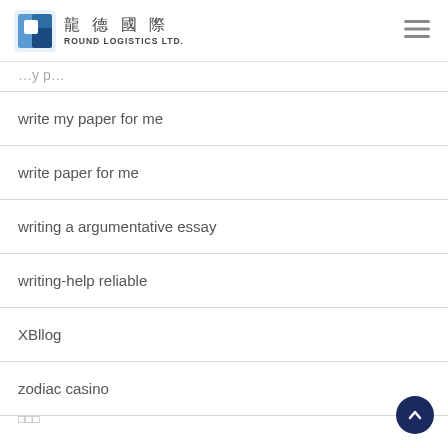[Figure (logo): Round Logistics Ltd. logo with blue square icon and Chinese/English text 龍德國際 ROUND LOGISTICS LTD.]
write my paper for me
write paper for me
writing a argumentative essay
writing-help reliable
XBllog
zodiac casino
□□□